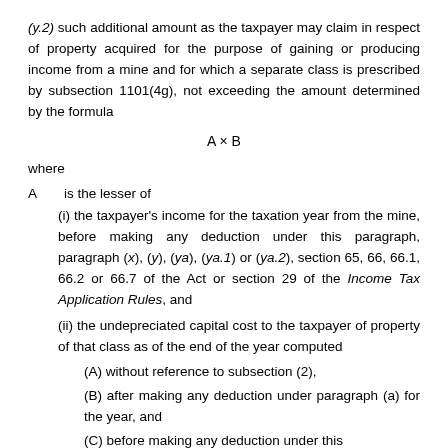(y.2) such additional amount as the taxpayer may claim in respect of property acquired for the purpose of gaining or producing income from a mine and for which a separate class is prescribed by subsection 1101(4g), not exceeding the amount determined by the formula
where
A   is the lesser of
(i) the taxpayer's income for the taxation year from the mine, before making any deduction under this paragraph, paragraph (x), (y), (ya), (ya.1) or (ya.2), section 65, 66, 66.1, 66.2 or 66.7 of the Act or section 29 of the Income Tax Application Rules, and
(ii) the undepreciated capital cost to the taxpayer of property of that class as of the end of the year computed
(A) without reference to subsection (2),
(B) after making any deduction under paragraph (a) for the year, and
(C) before making any deduction under this